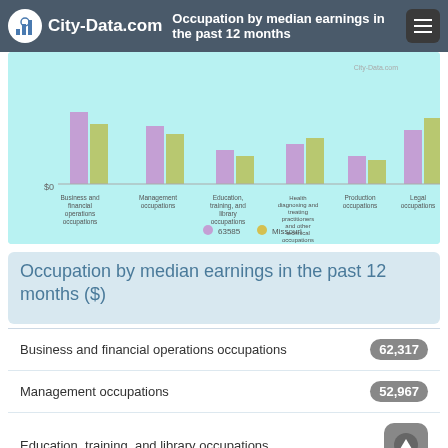City-Data.com — Occupation by median earnings in the past 12 months
[Figure (grouped-bar-chart): Occupation by median earnings in the past 12 months]
Occupation by median earnings in the past 12 months ($)
Business and financial operations occupations   62,317
Management occupations   52,967
Education, training, and library occupations
Health diagnosing and treating practitioners   37,145